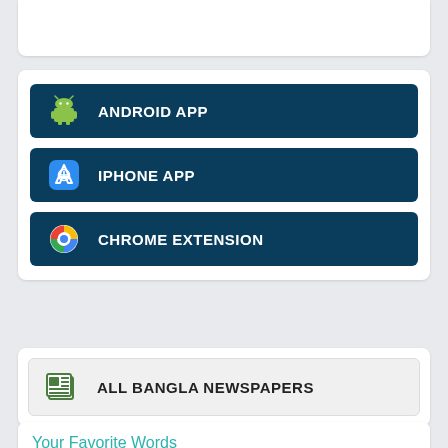[Figure (screenshot): Top white card (partial, cut off at top)]
ANDROID APP
IPHONE APP
CHROME EXTENSION
ALL BANGLA NEWSPAPERS
Your Favorite Words